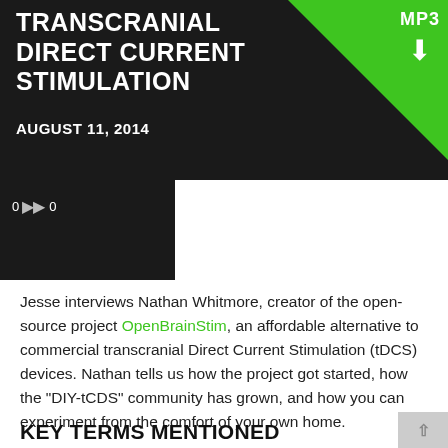TRANSCRANIAL DIRECT CURRENT STIMULATION
AUGUST 11, 2014
[Figure (screenshot): Audio player bar showing 0 and 0 with play/forward controls on dark background]
Jesse interviews Nathan Whitmore, creator of the open-source project OpenBrainStim, an affordable alternative to commercial transcranial Direct Current Stimulation (tDCS) devices. Nathan tells us how the project got started, how the "DIY-tCDS" community has grown, and how you can experiment from the comfort of your own home.
KEY TERMS MENTIONED